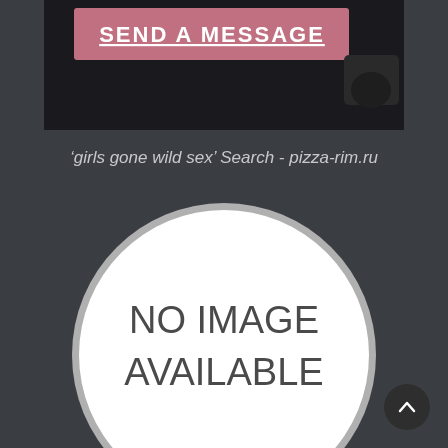[Figure (screenshot): Partial screenshot showing a dark UI with a pink/mauve button labeled SEND A MESSAGE, and a hand visible at the right edge.]
'girls gone wild sex' Search - pizza-rim.ru
[Figure (illustration): A large circle with white fill and gray border containing the text NO IMAGE AVAILABLE in dark gray uppercase letters.]